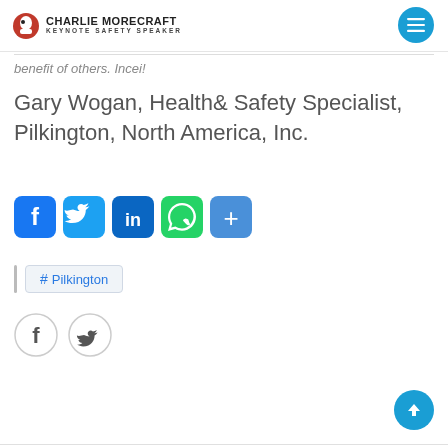Charlie Morecraft – Keynote Safety Speaker
benefit of others. Incei!
Gary Wogan, Health& Safety Specialist, Pilkington, North America, Inc.
[Figure (infographic): Social share icons: Facebook (blue), Twitter (blue), LinkedIn (blue), WhatsApp (green), Share/More (blue)]
# Pilkington
[Figure (infographic): Two circular social icons: Facebook (f) and Twitter (bird), with gray border outlines]